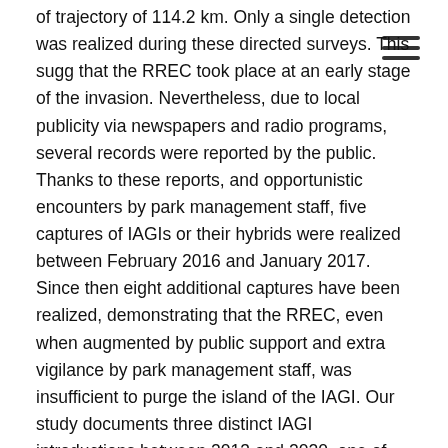of trajectory of 114.2 km. Only a single detection was realized during these directed surveys. This suggests that the RREC took place at an early stage of the invasion. Nevertheless, due to local publicity via newspapers and radio programs, several records were reported by the public. Thanks to these reports, and opportunistic encounters by park management staff, five captures of IAGIs or their hybrids were realized between February 2016 and January 2017. Since then eight additional captures have been realized, demonstrating that the RREC, even when augmented by public support and extra vigilance by park management staff, was insufficient to purge the island of the IAGI. Our study documents three distinct IAGI introductions between 2013 and 2020, one of which was likely intentional and two of which were incidental stowaways on container ships. Our results show that, even though it is a relatively large animal, due to its relatively secretive nature, camouflage, and